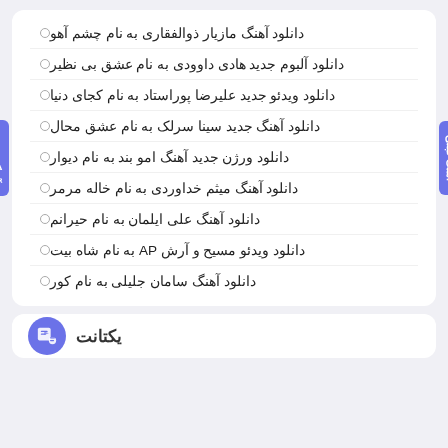دانلود آهنگ مازیار ذوالفقاری به نام چشم آهو
دانلود آلبوم جدید هادی داوودی به نام عشق بی نظیر
دانلود ویدئو جدید علیرضا پوراستاد به نام کجای دنیا
دانلود آهنگ جدید سینا سرلک به نام عشق محال
دانلود ورژن جدید آهنگ امو بند به نام دیوار
دانلود آهنگ میثم خداوردی به نام خاله مرمر
دانلود آهنگ علی ایلمان به نام حیرانم
دانلود ویدئو مسیح و آرش AP به نام شاه بیت
دانلود آهنگ سامان جلیلی به نام کور
یکتانت